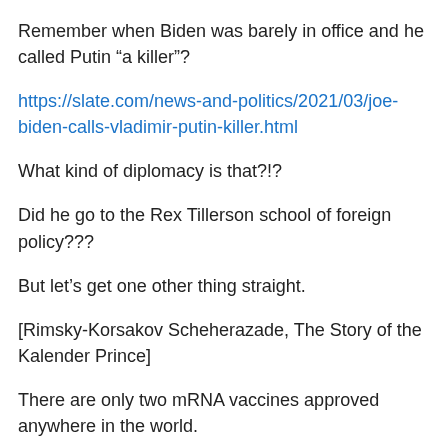Remember when Biden was barely in office and he called Putin “a killer”?
https://slate.com/news-and-politics/2021/03/joe-biden-calls-vladimir-putin-killer.html
What kind of diplomacy is that?!?
Did he go to the Rex Tillerson school of foreign policy???
But let’s get one other thing straight.
[Rimsky-Korsakov Scheherazade, The Story of the Kalender Prince]
There are only two mRNA vaccines approved anywhere in the world.
Ever.